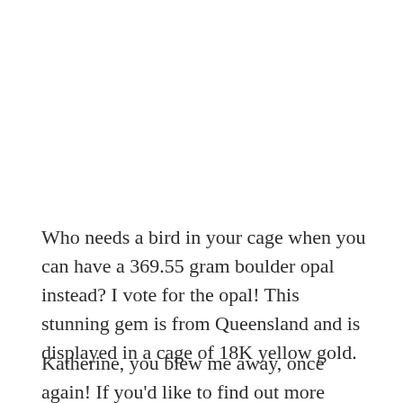Who needs a bird in your cage when you can have a 369.55 gram boulder opal instead? I vote for the opal! This stunning gem is from Queensland and is displayed in a cage of 18K yellow gold.
Katherine, you blew me away, once again! If you'd like to find out more about Katherine